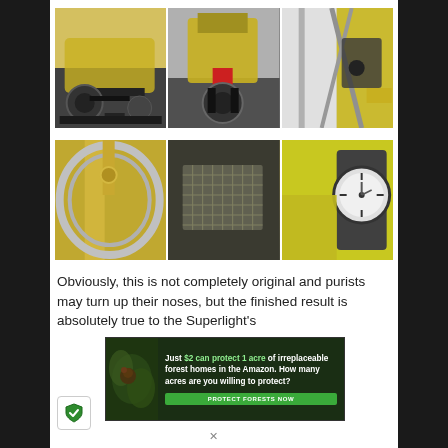[Figure (photo): Three motorcycle photos side by side in top grid: left shows yellow Ducati from side on paddock stand, center shows rear view of same motorcycle, right shows close-up of frame/engine details]
[Figure (photo): Three motorcycle detail photos side by side in middle grid: left shows gold front fork and wheel close-up, center shows engine radiator/oil cooler close-up, right shows instrument cluster with speedometer]
Obviously, this is not completely original and purists may turn up their noses, but the finished result is absolutely true to the Superlight's
[Figure (infographic): Advertisement banner: dark forest background with animal, text reads 'Just $2 can protect 1 acre of irreplaceable forest homes in the Amazon. How many acres are you willing to protect?' with green 'PROTECT FORESTS NOW' button]
[Figure (logo): Shield icon with green checkmark in bottom left corner]